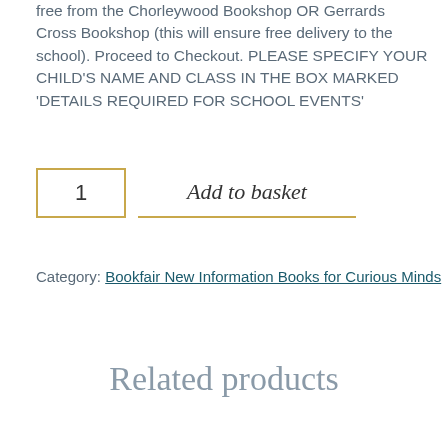free from the Chorleywood Bookshop OR Gerrards Cross Bookshop (this will ensure free delivery to the school). Proceed to Checkout. PLEASE SPECIFY YOUR CHILD'S NAME AND CLASS IN THE BOX MARKED 'DETAILS REQUIRED FOR SCHOOL EVENTS'
1   Add to basket
Category: Bookfair New Information Books for Curious Minds
Related products